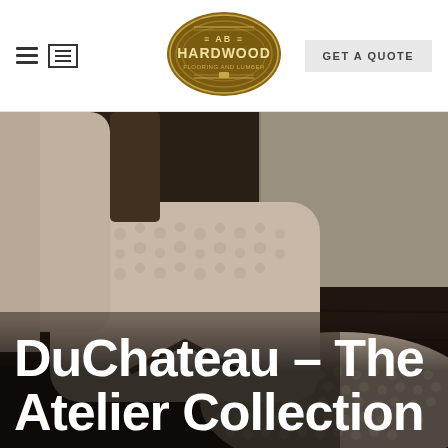AB Hardwood Flooring and Lumber — navigation bar with hamburger menu, list icon, logo, and GET A QUOTE button
[Figure (photo): Close-up photo of a cream/beige bouclé upholstered chair seat resting on a textured woven/knit beige rug, with dark hardwood flooring visible in the background]
DuChateau – The Atelier Collection